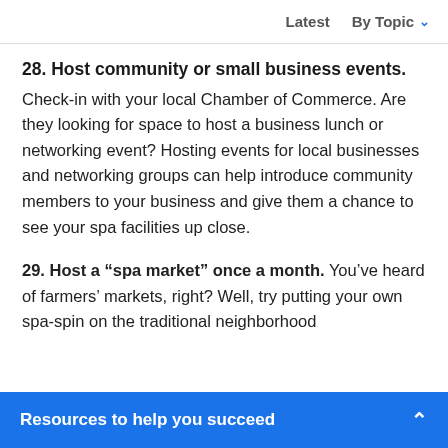Latest   By Topic
28. Host community or small business events. Check-in with your local Chamber of Commerce. Are they looking for space to host a business lunch or networking event? Hosting events for local businesses and networking groups can help introduce community members to your business and give them a chance to see your spa facilities up close.
29. Host a “spa market” once a month. You’ve heard of farmers’ markets, right? Well, try putting your own spa-spin on the traditional neighborhood
Resources to help you succeed